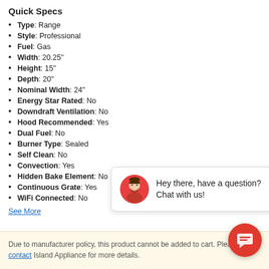Quick Specs
Type: Range
Style: Professional
Fuel: Gas
Width: 20.25"
Height: 15"
Depth: 20"
Nominal Width: 24"
Energy Star Rated: No
Downdraft Ventilation: No
Hood Recommended: Yes
Dual Fuel: No
Burner Type: Sealed
Self Clean: No
Convection: Yes
Hidden Bake Element: No
Continuous Grate: Yes
WiFi Connected: No
See More
[Figure (illustration): Chat widget popup with avatar and text: Hey there, have a question? Chat with us!]
Due to manufacturer policy, this product cannot be added to cart. Please contact Island Appliance for more details.